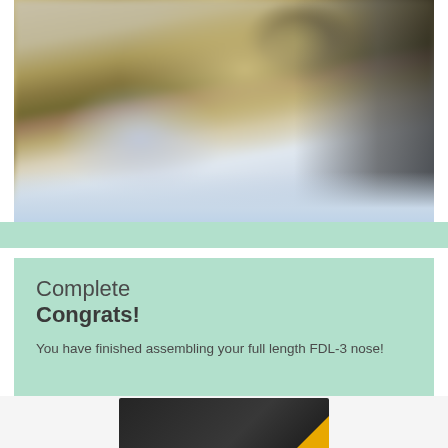[Figure (photo): Close-up blurred photo of a tan/beige colored FDL-3 nose cone component showing a rounded part with a circular fastener/screw, dark background on the right, light gray surface below]
Complete
Congrats!
You have finished assembling your full length FDL-3 nose!
[Figure (photo): Partial view of a dark black device/component with a yellow corner accent, partially visible at the bottom of the page]